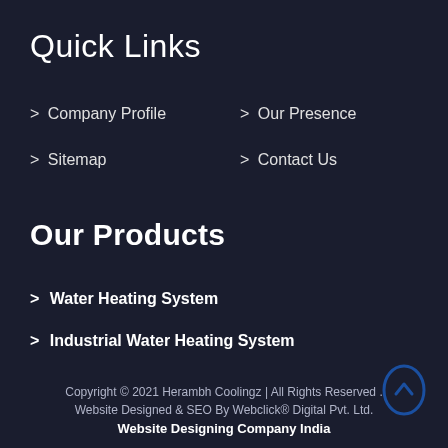Quick Links
> Company Profile
> Our Presence
> Sitemap
> Contact Us
Our Products
> Water Heating System
> Industrial Water Heating System
Copyright © 2021 Herambh Coolingz | All Rights Reserved . Website Designed & SEO By Webclick® Digital Pvt. Ltd. Website Designing Company India